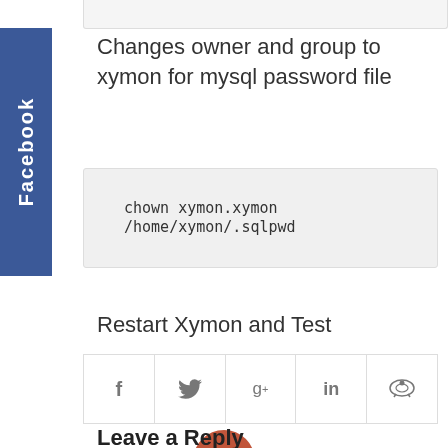[Figure (other): Facebook social share sidebar tab, blue vertical label reading 'Facebook']
Changes owner and group to xymon for mysql password file
chown xymon.xymon /home/xymon/.sqlpwd
Restart Xymon and Test
[Figure (other): Social share bar with icons: Facebook (f), Twitter (bird), Google+ (g+), LinkedIn (in), Reddit (alien)]
0 REPLIES
Leave a Reply